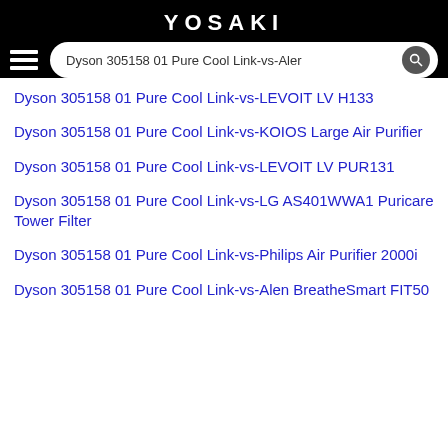YOSAKI
Dyson 305158 01 Pure Cool Link-vs-Aler [search bar]
Dyson 305158 01 Pure Cool Link-vs-LEVOIT LV H133
Dyson 305158 01 Pure Cool Link-vs-KOIOS Large Air Purifier
Dyson 305158 01 Pure Cool Link-vs-LEVOIT LV PUR131
Dyson 305158 01 Pure Cool Link-vs-LG AS401WWA1 Puricare Tower Filter
Dyson 305158 01 Pure Cool Link-vs-Philips Air Purifier 2000i
Dyson 305158 01 Pure Cool Link-vs-Alen BreatheSmart FIT50